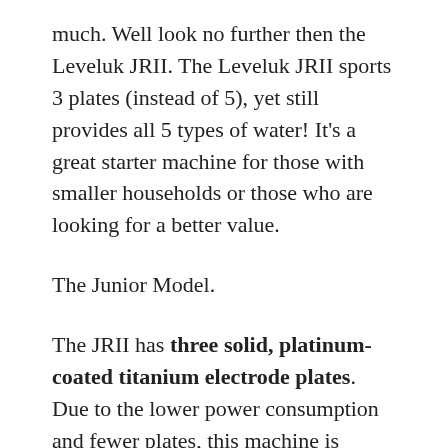much. Well look no further then the Leveluk JRII. The Leveluk JRII sports 3 plates (instead of 5), yet still provides all 5 types of water! It's a great starter machine for those with smaller households or those who are looking for a better value.
The Junior Model.
The JRII has three solid, platinum-coated titanium electrode plates. Due to the lower power consumption and fewer plates, this machine is considered one of Enagic's “starter” models. If you’re looking for a machine that generates all 5 types of water, this model is a good entry level choice. This will also allow you to